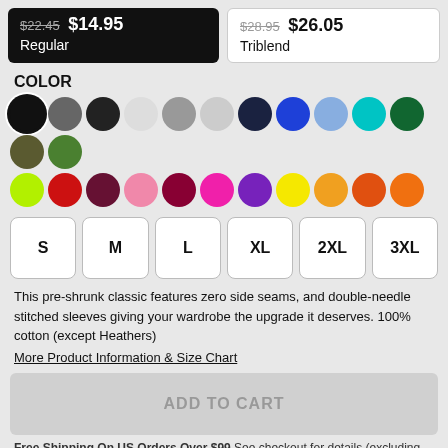$22.45 $14.95 Regular
$28.95 $26.05 Triblend
COLOR
[Figure (other): Color swatches: black (selected), dark gray, charcoal, light gray, medium gray, silver, navy, blue, light blue, teal, dark green, olive, green, lime green, red, dark red/maroon, pink, burgundy, hot pink, purple, yellow, light orange, orange, orange]
[Figure (other): Size selector buttons: S, M, L, XL, 2XL, 3XL]
This pre-shrunk classic features zero side seams, and double-needle stitched sleeves giving your wardrobe the upgrade it deserves. 100% cotton (except Heathers)
More Product Information & Size Chart
ADD TO CART
Free Shipping On US Orders Over $99 See checkout for details (excluding